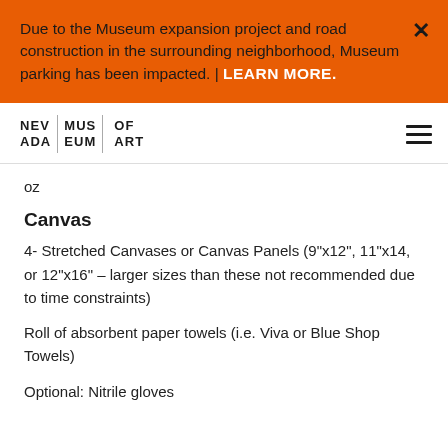Due to the Museum expansion project and road construction in the surrounding neighborhood, Museum parking has been impacted. | LEARN MORE.
[Figure (logo): Nevada Museum of Art logo with text NEV ADA | MUS EUM | OF ART]
oz
Canvas
4- Stretched Canvases or Canvas Panels (9"x12", 11"x14, or 12"x16" – larger sizes than these not recommended due to time constraints)
Roll of absorbent paper towels (i.e. Viva or Blue Shop Towels)
Optional: Nitrile gloves